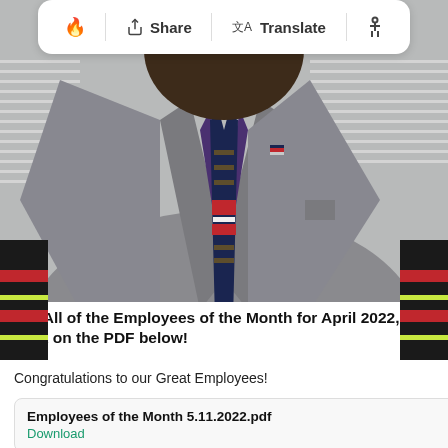[Figure (screenshot): Mobile browser toolbar showing fire emoji icon, Share button with upload icon, Translate button with language icon, and accessibility icon on white rounded rectangle background]
[Figure (photo): Photo of a person wearing a grey blazer, purple dress shirt, and a navy blue tie with decorative pattern and red/white stripes. A lapel pin is visible on the jacket. Background shows window blinds. Partial side decorative elements with black/red/green colors are visible on the left and right edges.]
For All of the Employees of the Month for April 2022, click on the PDF below!
Congratulations to our Great Employees!
Employees of the Month 5.11.2022.pdf
Download